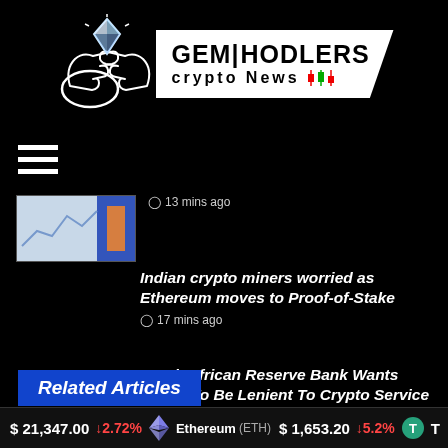[Figure (logo): GEM HODLERS Crypto News logo with hands holding a diamond gem on the left and white angled text box on the right with colorful candlestick chart icons]
[Figure (illustration): Hamburger menu icon (three horizontal white lines)]
[Figure (screenshot): Thumbnail image for a news article, appears to show a chart or graphic with blue and orange tones]
13 mins ago
Indian crypto miners worried as Ethereum moves to Proof-of-Stake
17 mins ago
South African Reserve Bank Wants Banks To Be Lenient To Crypto Service Providers
40 mins ago
Related Articles
$ 21,347.00 ↓2.72%  Ethereum (ETH)  $ 1,653.20  ↓5.2%  T